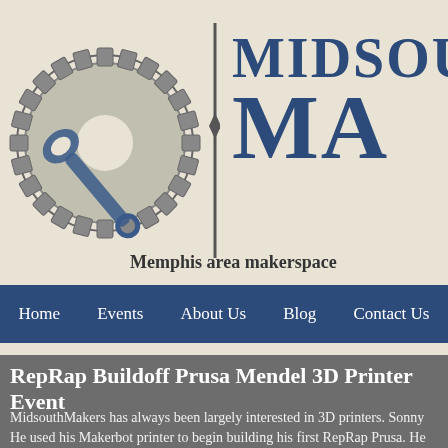[Figure (logo): Gear with wrench logo for MidsouthMakers makerspace, with vertical divider and site name MIDSOU/MA in blue distressed font]
Memphis area makerspace
Home  Events  About Us  Blog  Contact Us
RepRap Buildoff Prusa Mendel 3D Printer Event
MidsouthMakers has always been largely interested in 3D printers. Sonny He used his Makerbot printer to begin building his first RepRap Prusa. He such as Dan, Ben, and Claudio jump into 3D printing with their own printe as a hackerspace from our wealth of 3D printing knowledge.